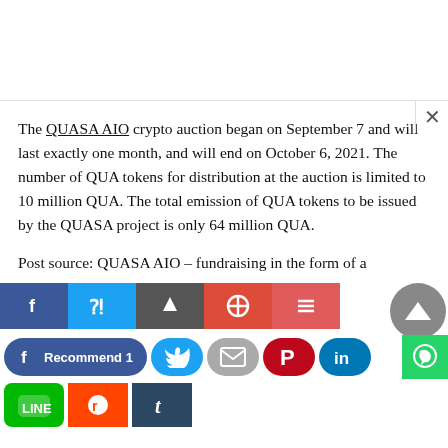The QUASA AIO crypto auction began on September 7 and will last exactly one month, and will end on October 6, 2021. The number of QUA tokens for distribution at the auction is limited to 10 million QUA. The total emission of QUA tokens to be issued by the QUASA project is only 64 million QUA.
Post source: QUASA AIO – fundraising in the form of a
[Figure (infographic): Social media share buttons: Facebook Recommend 1, Twitter, Email, Pinterest, LinkedIn, WhatsApp, LINE, Reddit, Tumblr. Also a scroll-to-top button.]